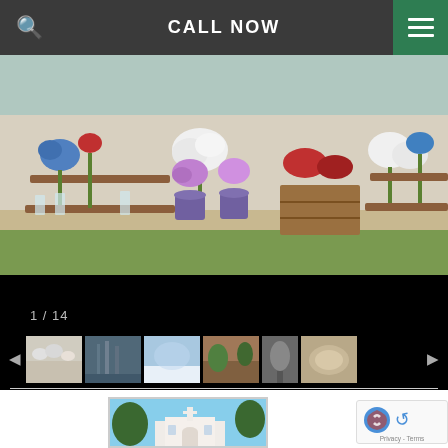CALL NOW
[Figure (photo): Flower arrangement display with colorful flowers in pots and wooden crates on an outdoor patio]
1 / 14
[Figure (photo): Image thumbnail strip showing 6 thumbnails of various scenes]
[Figure (photo): Photo of a white church building with trees and blue sky]
[Figure (other): Google reCAPTCHA widget showing Privacy - Terms]